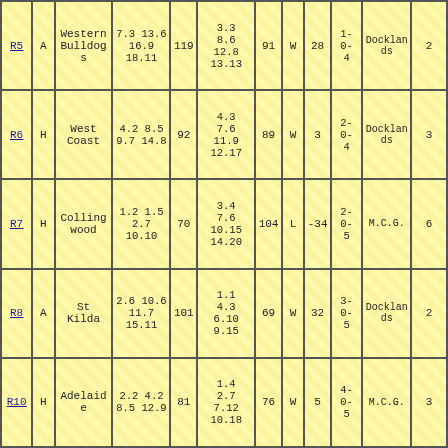| Round | H/A | Opponent | Our Score (Q) | Our Total | Opp Score (Q) | Opp Total | W/L | Margin | Record | Venue | Col12 |
| --- | --- | --- | --- | --- | --- | --- | --- | --- | --- | --- | --- |
| R5 | A | Western Bulldogs | 7.3 13.6 16.9 18.11 | 119 | 3.3 8.6 12.8 13.13 | 91 | W | 28 | 1-0-4 | Docklands | 2 |
| R6 | H | West Coast | 4.2 8.5 9.7 14.8 | 92 | 4.3 7.6 11.9 12.17 | 89 | W | 3 | 2-0-4 | Docklands | 3 |
| R7 | H | Collingwood | 1.2 1.5 2.7 10.10 | 70 | 3.4 7.6 10.15 14.20 | 104 | L | -34 | 2-0-5 | M.C.G. | 6 |
| R8 | A | St Kilda | 2.6 10.6 11.7 15.11 | 101 | 1.1 4.3 6.10 9.15 | 69 | W | 32 | 3-0-5 | Docklands | 2 |
| R10 | H | Adelaide | 2.2 4.2 8.5 12.9 | 81 | 1.4 2.7 7.12 10.18 | 76 | W | 5 | 4-0-5 | M.C.G. | 3 |